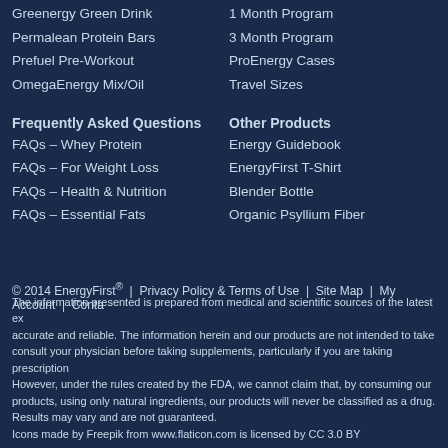Greenergy Green Drink
Permalean Protein Bars
Prefuel Pre-Workout
OmegaEnergy Mix/Oil
1 Month Program
3 Month Program
ProEnergy Cases
Travel Sizes
Frequently Asked Questions
FAQs – Whey Protein
FAQs – For Weight Loss
FAQs – Health & Nutrition
FAQs – Essential Fats
Other Products
Energy Guidebook
EnergyFirst T-Shirt
Blender Bottle
Organic Psyllium Fiber
© 2014 EnergyFirst® | Privacy Policy & Terms of Use | Site Map | My Account | Conta
The information presented is prepared from medical and scientific sources of the latest ex accurate and reliable. The information herein and our products are not intended to take consult your physician before taking supplements, particularly if you are taking prescription However, under the rules created by the FDA, we cannot claim that, by consuming our products, using only natural ingredients, our products will never be classified as a drug. Results may vary and are not guaranteed.
Icons made by Freepik from www.flaticon.com is licensed by CC 3.0 BY